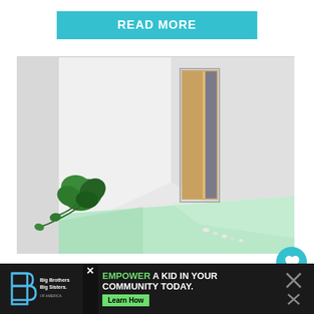[Figure (other): Cyan/teal READ MORE button]
[Figure (photo): Interior of an empty apartment room with mint green floor, white walls, a wooden door ajar, and a green plant in the corner with small white objects scattered on the floor.]
Apartment on a Mint Floor by
[Figure (other): Advertisement bar at bottom: Big Brothers Big Sisters logo on left, EMPOWER A KID IN YOUR COMMUNITY TODAY. text in center with Learn How button, close X buttons on sides.]